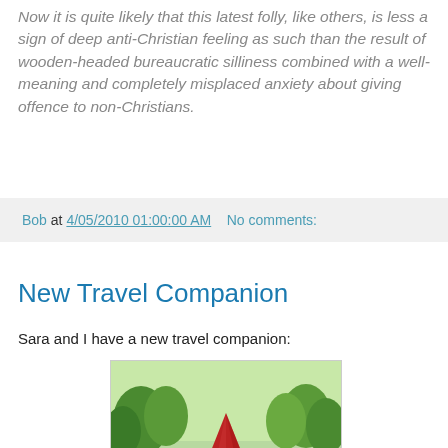Now it is quite likely that this latest folly, like others, is less a sign of deep anti-Christian feeling as such than the result of wooden-headed bureaucratic silliness combined with a well-meaning and completely misplaced anxiety about giving offence to non-Christians.
Bob at 4/05/2010 01:00:00 AM   No comments:
New Travel Companion
Sara and I have a new travel companion:
[Figure (photo): A garden gnome with a red pointed hat, white beard, and blue body, sitting on a car dashboard, viewed from behind. Green trees and suburban street visible through the windshield.]